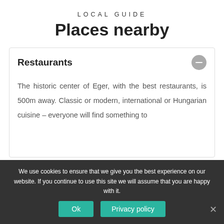LOCAL GUIDE
Places nearby
Restaurants
The historic center of Eger, with the best restaurants, is 500m away. Classic or modern, international or Hungarian cuisine – everyone will find something to
We use cookies to ensure that we give you the best experience on our website. If you continue to use this site we will assume that you are happy with it.